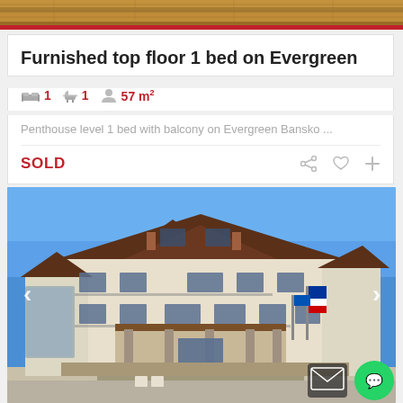[Figure (photo): Top partial wooden deck/flooring photo strip]
Furnished top floor 1 bed on Evergreen
1 bed, 1 bath, 57 m²
Penthouse level 1 bed with balcony on Evergreen Bansko ...
SOLD
[Figure (photo): Exterior photo of Evergreen Bansko apartment building, multi-storey traditional Bulgarian alpine style, blue sky background, flags visible]